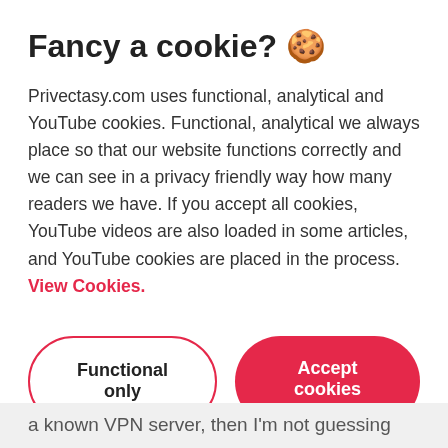Fancy a cookie? 🍪
Privectasy.com uses functional, analytical and YouTube cookies. Functional, analytical we always place so that our website functions correctly and we can see in a privacy friendly way how many readers we have. If you accept all cookies, YouTube videos are also loaded in some articles, and YouTube cookies are placed in the process. View Cookies.
Functional only
Accept cookies
a known VPN server, then I'm not guessing